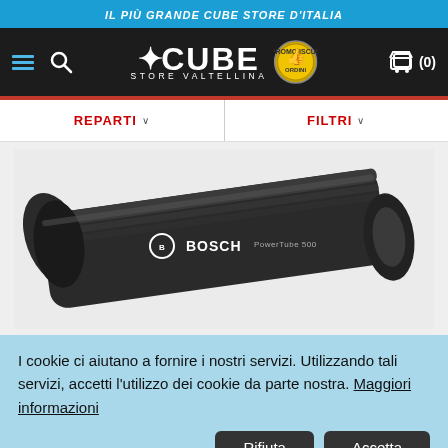IL PIÙ GRANDE CUBE STORE D'ITALIA
[Figure (logo): Cube Store Valtellina logo with hamburger menu, search icon, Cube brand logo with cross symbol, a gold badge, and shopping cart icon showing (0)]
REPARTI
FILTRI
[Figure (photo): A black Bosch PowerTube 500 e-bike battery on a white/light background, showing a cylindrical black anodized aluminum tube battery with BOSCH branding]
I cookie ci aiutano a fornire i nostri servizi. Utilizzando tali servizi, accetti l'utilizzo dei cookie da parte nostra. Maggiori informazioni
Rifiuta
Accetta